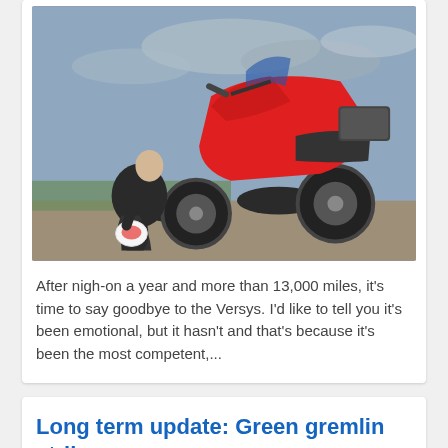[Figure (photo): A motorcyclist crouching beside a red Kawasaki Versys adventure motorcycle outdoors on a overcast day.]
After nigh-on a year and more than 13,000 miles, it's time to say goodbye to the Versys. I'd like to tell you it's been emotional, but it hasn't and that's because it's been the most competent,...
Long term update: Green gremlin strikes
18 February 2016 by Michael Guy
[Figure (photo): Partial view of another motorcycle article image (cropped at bottom of page).]